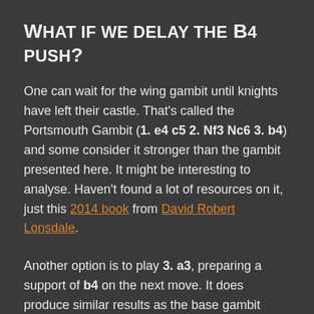What if we delay the b4 push?
One can wait for the wing gambit until knights have left their castle. That's called the Portsmouth Gambit (1. e4 c5 2. Nf3 Nc6 3. b4) and some consider it stronger than the gambit presented here. It might be interesting to analyse. Haven't found a lot of resources on it, just this 2014 book from David Robert Lonsdale.
Another option is to play 3. a3, preparing a support of b4 on the next move. It does produce similar results as the base gambit